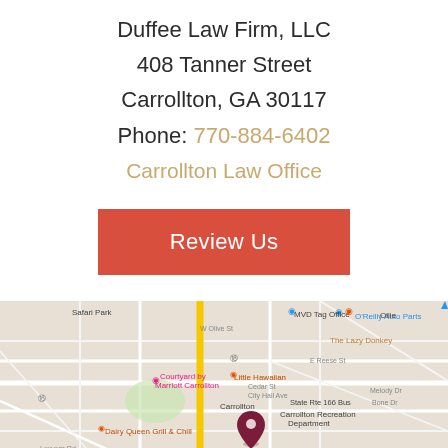Duffee Law Firm, LLC
408 Tanner Street
Carrollton, GA 30117
Phone: 770-884-6402
Carrollton Law Office
Review Us
[Figure (map): Google Maps embed showing the location of Duffee Law Firm, LLC in Carrollton, GA, with a red pin marker near the center of downtown Carrollton. Surrounding landmarks include Safari Park, Courtyard by Marriott Carrollton, Little Hawaiian, MVD Tag Office, O'Reilly Auto Parts, Carrollton Recreation Department, and Dairy Queen Grill & Chill.]